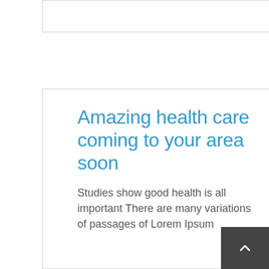[Figure (other): Top card/box with border, partially visible, empty content area]
Amazing health care coming to your area soon
Studies show good health is all important There are many variations of passages of Lorem Ipsum